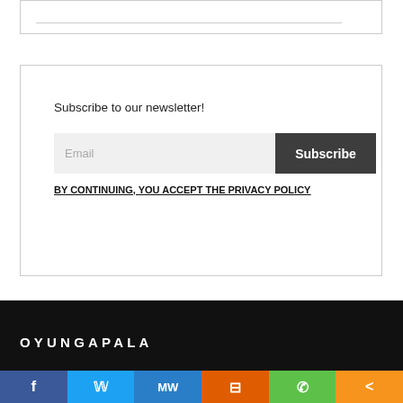Subscribe to our newsletter!
Email
Subscribe
BY CONTINUING, YOU ACCEPT THE PRIVACY POLICY
OYUNGAPALA
[Figure (other): Social media share bar with Facebook, Twitter, MW, Mix, WhatsApp, and share icons]